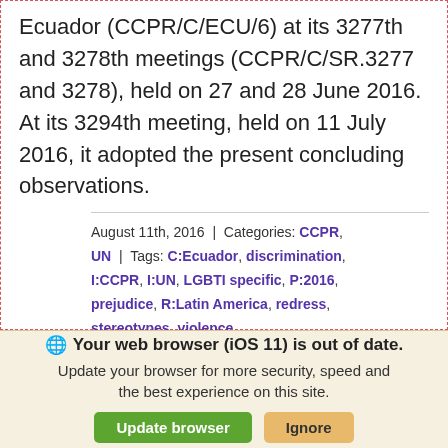Ecuador (CCPR/C/ECU/6) at its 3277th and 3278th meetings (CCPR/C/SR.3277 and 3278), held on 27 and 28 June 2016. At its 3294th meeting, held on 11 July 2016, it adopted the present concluding observations.
August 11th, 2016 | Categories: CCPR, UN | Tags: C:Ecuador, discrimination, I:CCPR, I:UN, LGBTI specific, P:2016, prejudice, R:Latin America, redress, stereotypes, violence
Your web browser (iOS 11) is out of date. Update your browser for more security, speed and the best experience on this site.